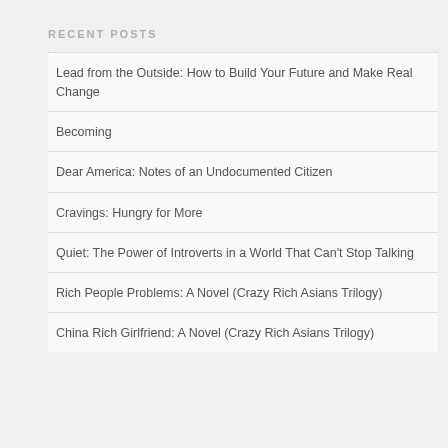RECENT POSTS
Lead from the Outside: How to Build Your Future and Make Real Change
Becoming
Dear America: Notes of an Undocumented Citizen
Cravings: Hungry for More
Quiet: The Power of Introverts in a World That Can't Stop Talking
Rich People Problems: A Novel (Crazy Rich Asians Trilogy)
China Rich Girlfriend: A Novel (Crazy Rich Asians Trilogy)